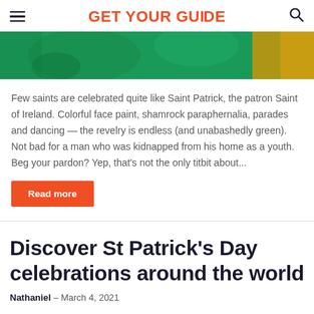GET YOUR GUIDE
[Figure (photo): People wearing green shirts/clothing, a St Patrick's Day celebration scene]
Few saints are celebrated quite like Saint Patrick, the patron Saint of Ireland. Colorful face paint, shamrock paraphernalia, parades and dancing — the revelry is endless (and unabashedly green). Not bad for a man who was kidnapped from his home as a youth. Beg your pardon? Yep, that's not the only titbit about...
Read more
Discover St Patrick's Day celebrations around the world
Nathaniel – March 4, 2021